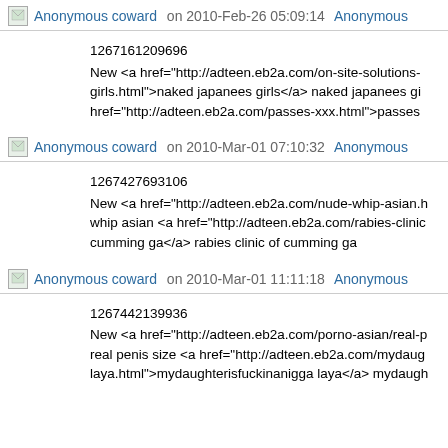Anonymous coward on 2010-Feb-26 05:09:14 Anonymous
1267161209696
New <a href="http://adteen.eb2a.com/on-site-solutions-girls.html">naked japanees girls</a> naked japanees gi... href="http://adteen.eb2a.com/passes-xxx.html">passes
Anonymous coward on 2010-Mar-01 07:10:32 Anonymous
1267427693106
New <a href="http://adteen.eb2a.com/nude-whip-asian.h... whip asian <a href="http://adteen.eb2a.com/rabies-clinic... cumming ga</a> rabies clinic of cumming ga
Anonymous coward on 2010-Mar-01 11:11:18 Anonymous
1267442139936
New <a href="http://adteen.eb2a.com/porno-asian/real-p... real penis size <a href="http://adteen.eb2a.com/mydaug... laya.html">mydaughterisfuckinanigga laya</a> mydaugh